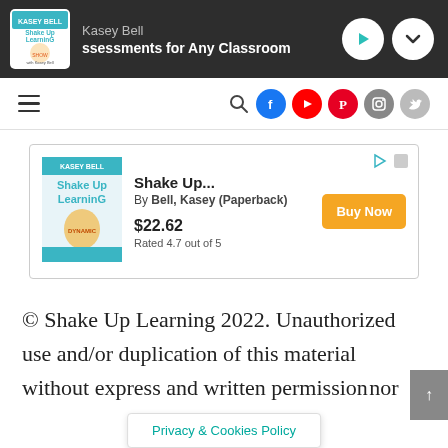Kasey Bell | ssessments for Any Classroom
[Figure (screenshot): Navigation bar with hamburger menu and social media icons (search, Facebook, YouTube, Pinterest, Instagram, Twitter)]
[Figure (other): Advertisement box for book: Shake Up... By Bell, Kasey (Paperback). Price $22.62, Rated 4.7 out of 5. Buy Now button.]
© Shake Up Learning 2022. Unauthorized use and/or duplication of this material without express and written permission nor
Privacy & Cookies Policy